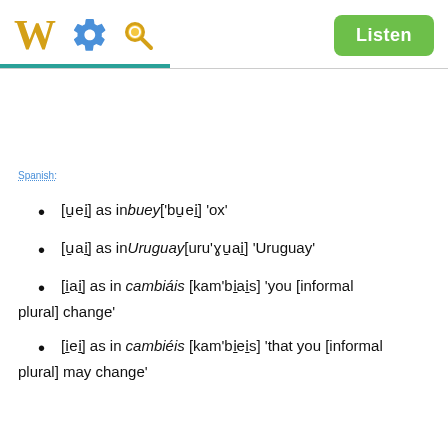[Figure (screenshot): Wiktionary app header with W logo, gear icon, search icon, and Listen button]
Spanish:
[u̯ei̯] as in buey ['bu̯ei̯] 'ox'
[u̯ai̯] as in Uruguay [uru'ɣu̯ai̯] 'Uruguay'
[i̯ai̯] as in cambiáis [kam'bi̯ai̯s] 'you [informal plural] change'
[i̯ei̯] as in cambiéis [kam'bi̯ei̯s] 'that you [informal plural] may change'